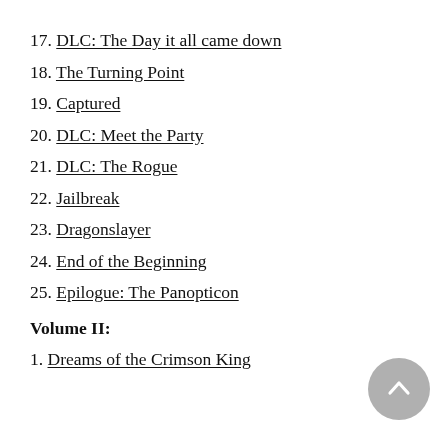17. DLC: The Day it all came down
18. The Turning Point
19. Captured
20. DLC: Meet the Party
21. DLC: The Rogue
22. Jailbreak
23. Dragonslayer
24. End of the Beginning
25. Epilogue: The Panopticon
Volume II:
1. Dreams of the Crimson King